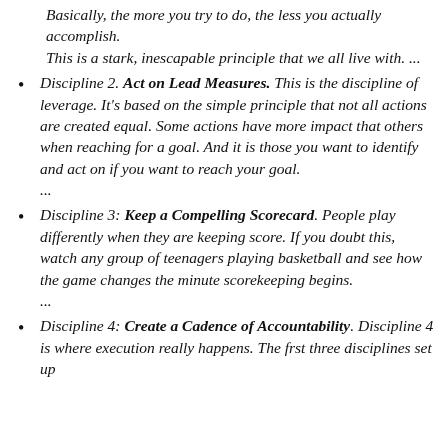Basically, the more you try to do, the less you actually accomplish.
This is a stark, inescapable principle that we all live with. ...
Discipline 2. Act on Lead Measures. This is the discipline of leverage. It's based on the simple principle that not all actions are created equal. Some actions have more impact that others when reaching for a goal. And it is those you want to identify and act on if you want to reach your goal. ...
Discipline 3: Keep a Compelling Scorecard. People play differently when they are keeping score. If you doubt this, watch any group of teenagers playing basketball and see how the game changes the minute scorekeeping begins. ...
Discipline 4: Create a Cadence of Accountability. Discipline 4 is where execution really happens. The frst three disciplines set up